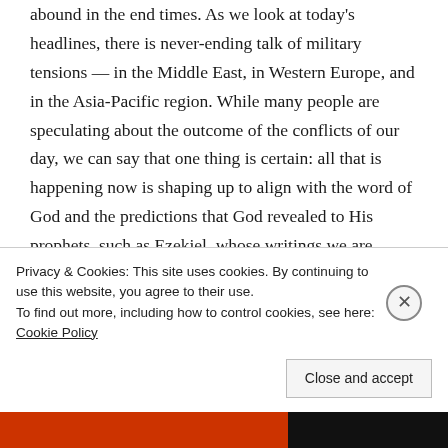abound in the end times. As we look at today's headlines, there is never-ending talk of military tensions — in the Middle East, in Western Europe, and in the Asia-Pacific region. While many people are speculating about the outcome of the conflicts of our day, we can say that one thing is certain: all that is happening now is shaping up to align with the word of God and the predictions that God revealed to His prophets, such as Ezekiel, whose writings we are studying now.
In our last message, we began looking at the great Gog-Magog war of the end times. The scholars are in…
Privacy & Cookies: This site uses cookies. By continuing to use this website, you agree to their use. To find out more, including how to control cookies, see here: Cookie Policy
Close and accept